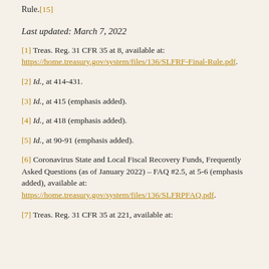Rule.[15]
Last updated: March 7, 2022
[1] Treas. Reg. 31 CFR 35 at 8, available at: https://home.treasury.gov/system/files/136/SLFRF-Final-Rule.pdf.
[2] Id., at 414-431.
[3] Id., at 415 (emphasis added).
[4] Id., at 418 (emphasis added).
[5] Id., at 90-91 (emphasis added).
[6] Coronavirus State and Local Fiscal Recovery Funds, Frequently Asked Questions (as of January 2022) – FAQ #2.5, at 5-6 (emphasis added), available at: https://home.treasury.gov/system/files/136/SLFRPFAQ.pdf.
[7] Treas. Reg. 31 CFR 35 at 221, available at: